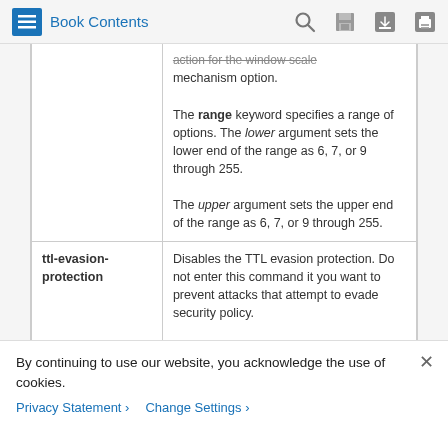Book Contents
| Keyword | Description |
| --- | --- |
|  | action for the window scale mechanism option.

The range keyword specifies a range of options. The lower argument sets the lower end of the range as 6, 7, or 9 through 255.

The upper argument sets the upper end of the range as 6, 7, or 9 through 255. |
| ttl-evasion-protection | Disables the TTL evasion protection. Do not enter this command it you want to prevent attacks that attempt to evade security policy.

For example, an attacker can send a |
By continuing to use our website, you acknowledge the use of cookies.
Privacy Statement > Change Settings >